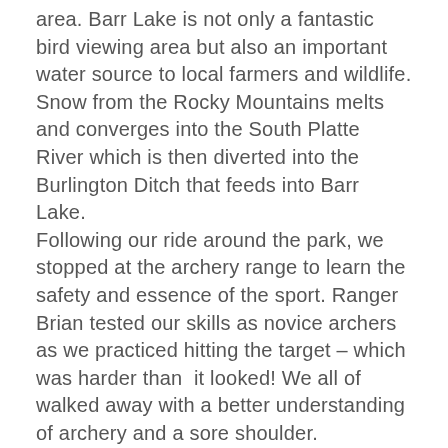area. Barr Lake is not only a fantastic bird viewing area but also an important water source to local farmers and wildlife. Snow from the Rocky Mountains melts and converges into the South Platte River which is then diverted into the Burlington Ditch that feeds into Barr Lake.
Following our ride around the park, we stopped at the archery range to learn the safety and essence of the sport. Ranger Brian tested our skills as novice archers as we practiced hitting the target – which was harder than  it looked! We all of walked away with a better understanding of archery and a sore shoulder.
We finished with a fun service project that included cleaning up their 3D hunting range, with targets shaped in various animals, including Jackalopes and Alligators!